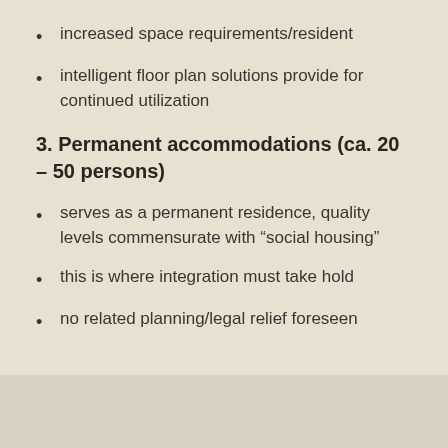increased space requirements/resident
intelligent floor plan solutions provide for continued utilization
3. Permanent accommodations (ca. 20 – 50 persons)
serves as a permanent residence, quality levels commensurate with “social housing”
this is where integration must take hold
no related planning/legal relief foreseen